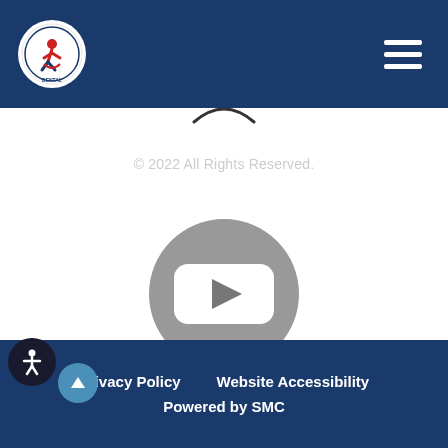[Figure (logo): Fit To Smile Dental circular logo on dark blue navigation header with hamburger menu icon]
[Figure (illustration): Partial upward arrow/chevron icon visible at top of white content area]
© 2022 All Rights Reserved.
[Figure (illustration): Gray circle YouTube-style play button icon]
Privacy Policy   Website Accessibility   Powered by SMC